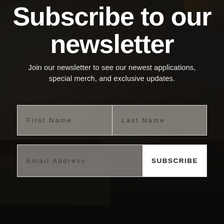Subscribe to our newsletter
Join our newsletter to see our newest applications, special merch, and exclusive updates.
[Figure (screenshot): Newsletter subscription form with two input fields (First Name, Last Name), an email address input, and a SUBSCRIBE button, overlaid on a dark car interior background image.]